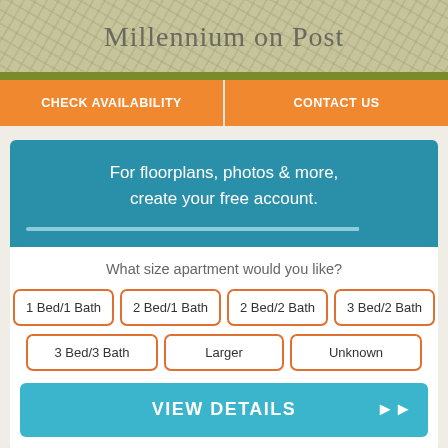Millennium on Post
CHECK AVAILABILITY
CONTACT US
For floorplans, photos & more, create your free account.
What size apartment would you like?
1 Bed/1 Bath
2 Bed/1 Bath
2 Bed/2 Bath
3 Bed/2 Bath
3 Bed/3 Bath
Larger
Unknown
VIEW DETAILS
Search over 96% of Texas Apartments